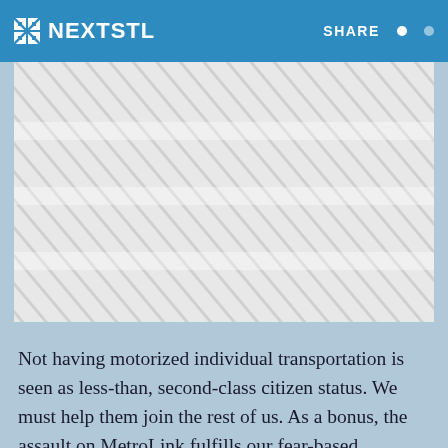NEXTSTL   SHARE
[Figure (photo): Image placeholder with diagonal hatching pattern on light gray background, representing a loading or missing image on the NextSTL website]
Not having motorized individual transportation is seen as less-than, second-class citizen status. We must help them join the rest of us. As a bonus, the assault on MetroLink fulfills our fear-based fantasies of the dangers of the city, dense places, public transit, being poor and vulnerable forced to